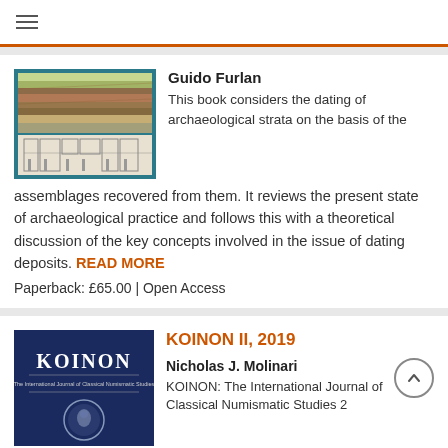☰
[Figure (illustration): Book cover showing archaeological stratigraphy diagram with colored horizontal layers and architectural plans below, teal border]
Guido Furlan
This book considers the dating of archaeological strata on the basis of the assemblages recovered from them. It reviews the present state of archaeological practice and follows this with a theoretical discussion of the key concepts involved in the issue of dating deposits. READ MORE
Paperback: £65.00 | Open Access
KOINON II, 2019
[Figure (illustration): Book cover of KOINON - The International Journal of Classical Numismatic Studies, dark navy blue cover with title and subtitle text and small coin image]
Nicholas J. Molinari
KOINON: The International Journal of Classical Numismatic Studies 2